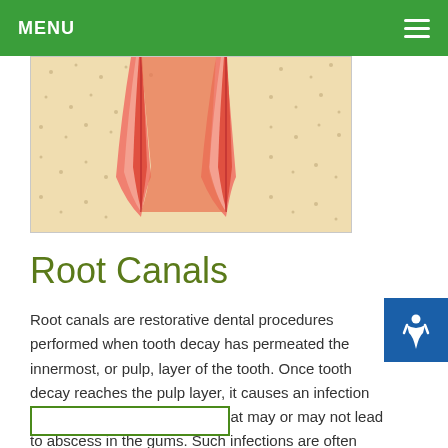MENU
[Figure (illustration): Cross-section illustration of tooth roots showing root canal anatomy with pink/red pulp tissue and orange/red root canals against a beige speckled background representing bone]
Root Canals
Root canals are restorative dental procedures performed when tooth decay has permeated the innermost, or pulp, layer of the tooth. Once tooth decay reaches the pulp layer, it causes an infection in the tooth's pulp and roots that may or may not lead to abscess in the gums. Such infections are often extremely painful and [...]